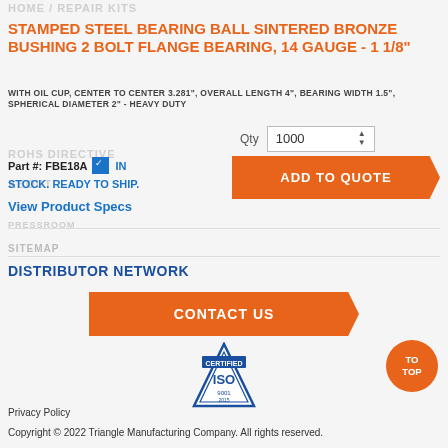STAMPED STEEL BEARING BALL SINTERED BRONZE BUSHING 2 BOLT FLANGE BEARING, 14 GAUGE - 1 1/8"
WITH OIL CUP, CENTER TO CENTER 3.281", OVERALL LENGTH 4", BEARING WIDTH 1.5", SPHERICAL DIAMETER 2" - HEAVY DUTY
Part #: FBE18A ☑ IN STOCK. READY TO SHIP.
View Product Specs
Qty 1000
ADD TO QUOTE
SITEMAP
DISTRIBUTOR NETWORK
CONTACT US
[Figure (logo): ISO Certified triangle logo badge]
TO TOP
Privacy Policy
Copyright © 2022 Triangle Manufacturing Company. All rights reserved.